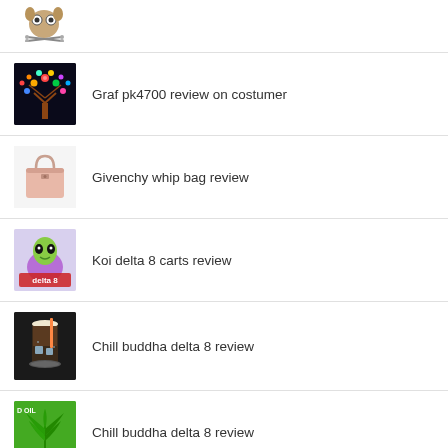(partial/cropped item at top)
Graf pk4700 review on costumer
Givenchy whip bag review
Koi delta 8 carts review
Chill buddha delta 8 review
Chill buddha delta 8 review